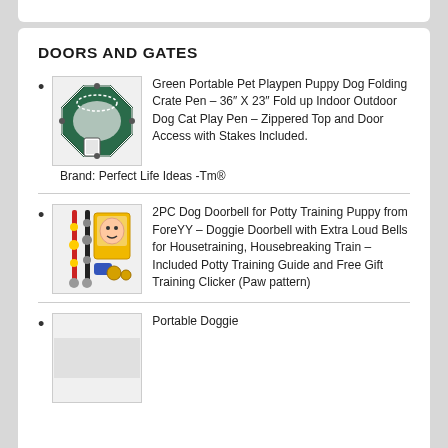DOORS AND GATES
Green Portable Pet Playpen Puppy Dog Folding Crate Pen – 36″ X 23″ Fold up Indoor Outdoor Dog Cat Play Pen – Zippered Top and Door Access with Stakes Included. Brand: Perfect Life Ideas -Tm®
2PC Dog Doorbell for Potty Training Puppy from ForeYY – Doggie Doorbell with Extra Loud Bells for Housetraining, Housebreaking Train – Included Potty Training Guide and Free Gift Training Clicker (Paw pattern)
Portable Doggie